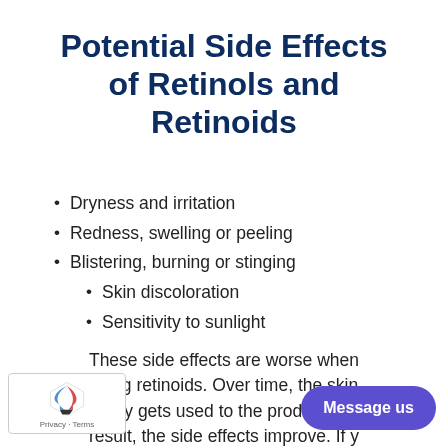Potential Side Effects of Retinols and Retinoids
Dryness and irritation
Redness, swelling or peeling
Blistering, burning or stinging
Skin discoloration
Sensitivity to sunlight
These side effects are worse when using retinoids. Over time, the skin usually gets used to the product. As a result, the side effects improve. If y…